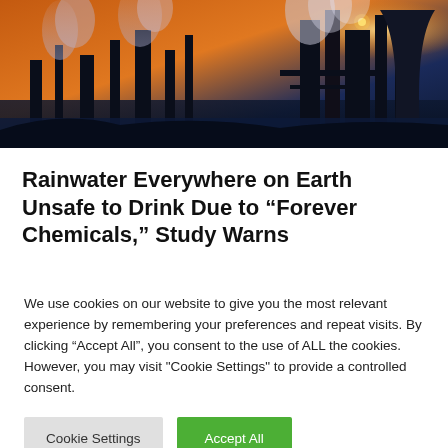[Figure (photo): Industrial facility at dusk/sunset with smoke stacks, heavy machinery, and dramatic orange and blue sky with smoke/steam emissions.]
Rainwater Everywhere on Earth Unsafe to Drink Due to “Forever Chemicals,” Study Warns
We use cookies on our website to give you the most relevant experience by remembering your preferences and repeat visits. By clicking “Accept All”, you consent to the use of ALL the cookies. However, you may visit "Cookie Settings" to provide a controlled consent.